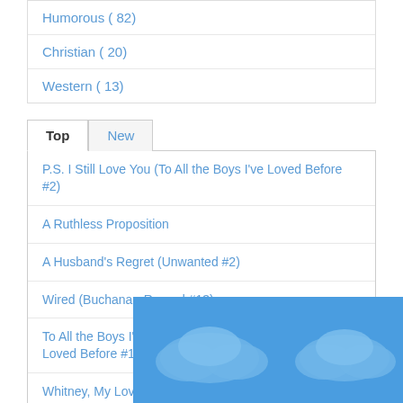Humorous ( 82)
Christian ( 20)
Western ( 13)
Top | New
P.S. I Still Love You (To All the Boys I've Loved Before #2)
A Ruthless Proposition
A Husband's Regret (Unwanted #2)
Wired (Buchanan-Renard #13)
To All the Boys I've Loved Before (To All the Boys I've Loved Before #1)
Whitney, My Love (Westmoreland Saga #2)
A Kingdom of Dreams (Westmoreland Saga #1)
Mine Till Midnight (The Hathaways #1)
Married